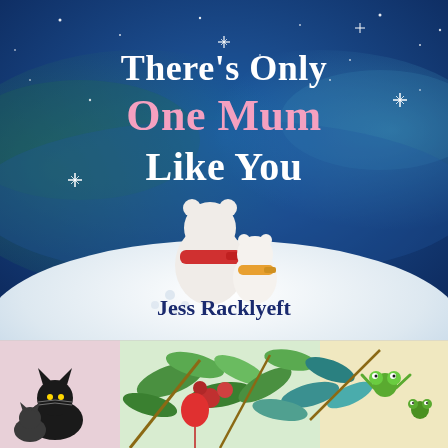[Figure (illustration): Book cover for 'There's Only One Mum Like You' by Jess Racklyeft. Features a starry dark blue night sky with aurora borealis effect. In the foreground, two white polar bears (a large mother with red scarf and a small cub with yellow-orange scarf) sit together on a snowy hill/moon surface, looking up at the sky. White sparkle/star details scattered across the sky. Title text in white and pink on upper portion, author name in navy blue below the bears.]
[Figure (illustration): Bottom strip showing a colourful illustrated scene with tropical/garden foliage - green leaves, branches with red berries/fruits. A black cat with a smaller cat/kitten visible on the left side. On the right side, frogs or similar characters appear in the foliage against a warm yellow/orange background with pink accents.]